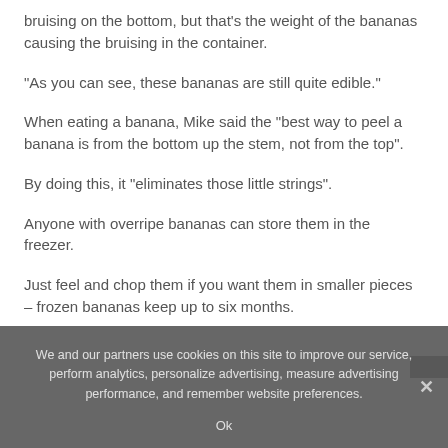bruising on the bottom, but that’s the weight of the bananas causing the bruising in the container.
“As you can see, these bananas are still quite edible.”
When eating a banana, Mike said the “best way to peel a banana is from the bottom up the stem, not from the top”.
By doing this, it “eliminates those little strings”.
Anyone with overripe bananas can store them in the freezer.
Just feel and chop them if you want them in smaller pieces – frozen bananas keep up to six months.
We and our partners use cookies on this site to improve our service, perform analytics, personalize advertising, measure advertising performance, and remember website preferences.
Ok